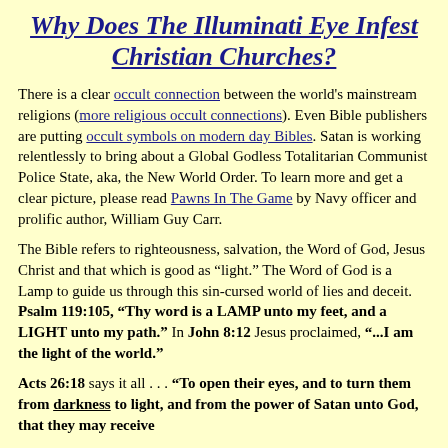Why Does The Illuminati Eye Infest Christian Churches?
There is a clear occult connection between the world's mainstream religions (more religious occult connections). Even Bible publishers are putting occult symbols on modern day Bibles. Satan is working relentlessly to bring about a Global Godless Totalitarian Communist Police State, aka, the New World Order. To learn more and get a clear picture, please read Pawns In The Game by Navy officer and prolific author, William Guy Carr.
The Bible refers to righteousness, salvation, the Word of God, Jesus Christ and that which is good as “light.” The Word of God is a Lamp to guide us through this sin-cursed world of lies and deceit. Psalm 119:105, “Thy word is a LAMP unto my feet, and a LIGHT unto my path.” In John 8:12 Jesus proclaimed, “...I am the light of the world.”
Acts 26:18 says it all . . . “To open their eyes, and to turn them from darkness to light, and from the power of Satan unto God, that they may receive